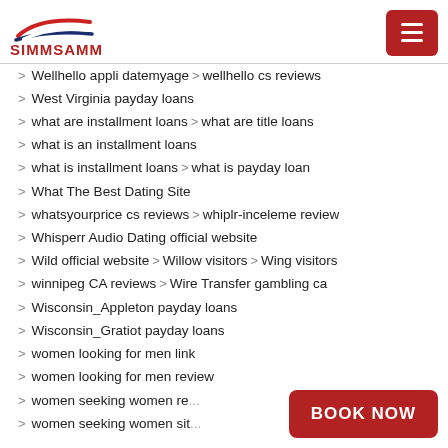SIMMSAMM
Wellhello appli datemyage > wellhello cs reviews
West Virginia payday loans
what are installment loans > what are title loans
what is an installment loans
what is installment loans > what is payday loan
What The Best Dating Site
whatsyourprice cs reviews > whiplr-inceleme review
Whisperr Audio Dating official website
Wild official website > Willow visitors > Wing visitors
winnipeg CA reviews > Wire Transfer gambling ca
Wisconsin_Appleton payday loans
Wisconsin_Gratiot payday loans
women looking for men link
women looking for men review
women seeking women re...
women seeking women sit...
BOOK NOW